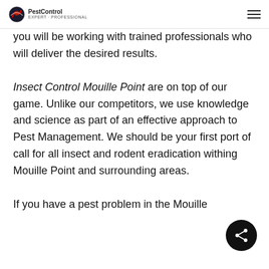PestControl
you will be working with trained professionals who will deliver the desired results.

Insect Control Mouille Point are on top of our game. Unlike our competitors, we use knowledge and science as part of an effective approach to Pest Management. We should be your first port of call for all insect and rodent eradication withing Mouille Point and surrounding areas.

If you have a pest problem in the Mouille
[Figure (other): Share button icon (dark circle with share symbol)]